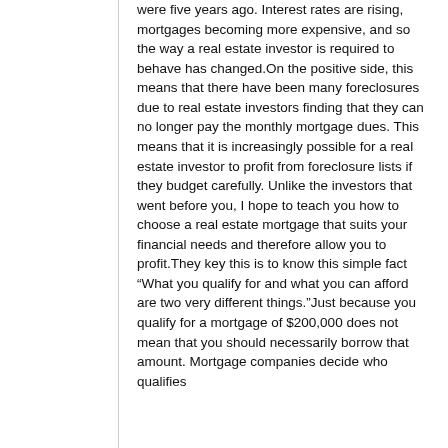were five years ago. Interest rates are rising, mortgages becoming more expensive, and so the way a real estate investor is required to behave has changed.On the positive side, this means that there have been many foreclosures due to real estate investors finding that they can no longer pay the monthly mortgage dues. This means that it is increasingly possible for a real estate investor to profit from foreclosure lists if they budget carefully. Unlike the investors that went before you, I hope to teach you how to choose a real estate mortgage that suits your financial needs and therefore allow you to profit.They key this is to know this simple fact “What you qualify for and what you can afford are two very different things.”Just because you qualify for a mortgage of $200,000 does not mean that you should necessarily borrow that amount. Mortgage companies decide who qualifies